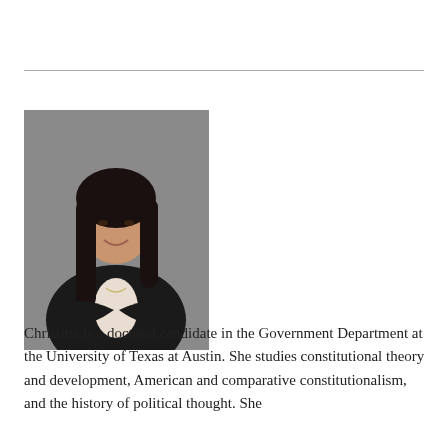[Figure (photo): Professional headshot of a young woman with long dark hair, wearing a black blazer with arms crossed, against a gray background.]
Christina is a doctoral candidate in the Government Department at the University of Texas at Austin. She studies constitutional theory and development, American and comparative constitutionalism, and the history of political thought. She